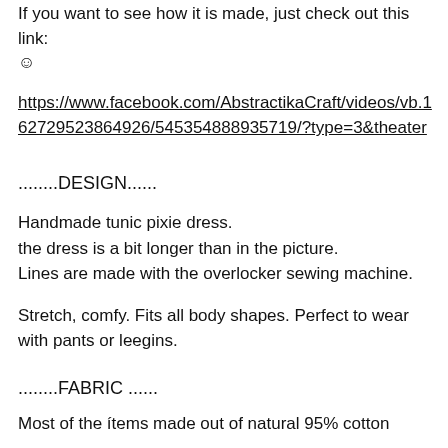If you want to see how it is made, just check out this link: ☺
https://www.facebook.com/AbstractikaCraft/videos/vb.162729523864926/545354888935719/?type=3&theater
........DESIGN......
Handmade tunic pixie dress.
the dress is a bit longer than in the picture.
Lines are made with the overlocker sewing machine.
Stretch, comfy. Fits all body shapes. Perfect to wear with pants or leegins.
........FABRIC ......
Most of the ítems made out of natural 95% cotton